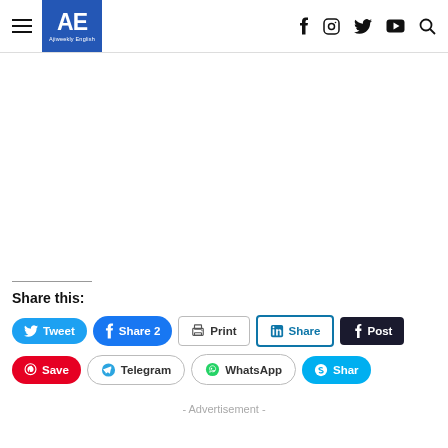AE Ajiweekly English
Share this:
Tweet | Share 2 | Print | Share | Post | Save | Telegram | WhatsApp | Shar
- Advertisement -